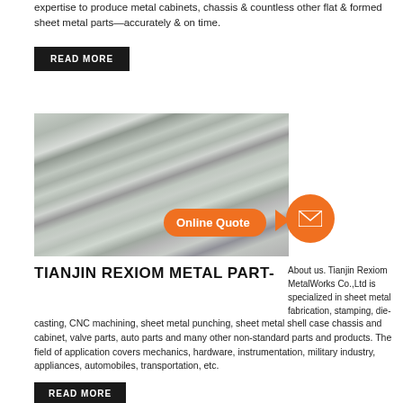expertise to produce metal cabinets, chassis & countless other flat & formed sheet metal parts—accurately & on time.
READ MORE
[Figure (photo): Stacked metal flat bars/sheets in a warehouse, silver/grey metallic finish, with an orange 'Online Quote' button overlay and an orange email circle icon]
TIANJIN REXIOM METAL PART-
About us. Tianjin Rexiom MetalWorks Co.,Ltd is specialized in sheet metal fabrication, stamping, die-casting, CNC machining, sheet metal punching, sheet metal shell case chassis and cabinet, valve parts, auto parts and many other non-standard parts and products. The field of application covers mechanics, hardware, instrumentation, military industry, appliances, automobiles, transportation, etc.
READ MORE